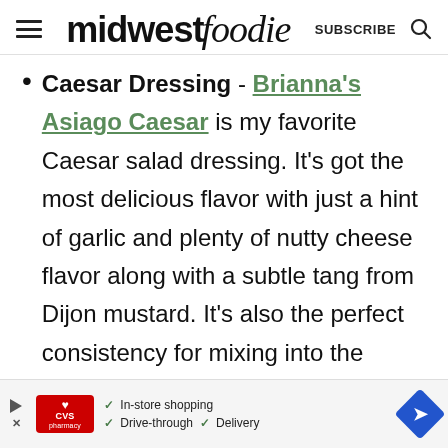midwest foodie | SUBSCRIBE
Caesar Dressing - Brianna's Asiago Caesar is my favorite Caesar salad dressing. It's got the most delicious flavor with just a hint of garlic and plenty of nutty cheese flavor along with a subtle tang from Dijon mustard. It's also the perfect consistency for mixing into the
[Figure (screenshot): CVS pharmacy advertisement banner with in-store shopping, drive-through, and delivery options, and a blue directional arrow icon]